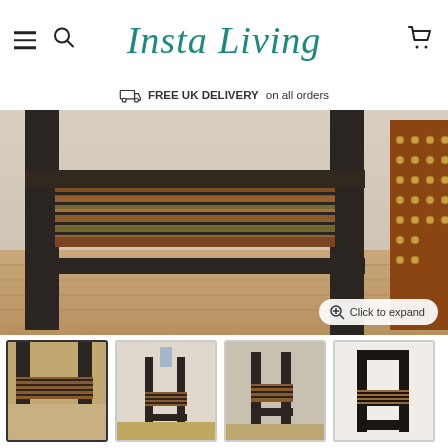Insta Living
FREE UK DELIVERY on all orders
[Figure (photo): Close-up photo of an industrial-style side table with reclaimed wood slatted shelf and black metal frame legs, on a wood floor, with a brown leather studded chair partially visible on the right. A 'Click to expand' button is visible in the bottom right corner of the image.]
[Figure (photo): Thumbnail 1 (active/selected): close-up of the industrial side table from a front-left angle showing the reclaimed wood shelf and metal frame.]
[Figure (photo): Thumbnail 2: wider view of the industrial side table with a vase on top, showing the full height.]
[Figure (photo): Thumbnail 3: side view of the industrial side table showing its profile.]
[Figure (photo): Thumbnail 4: straight-on front view of the industrial side table showing its frame and shelf.]